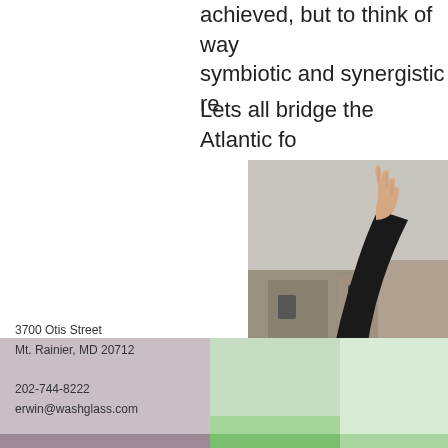achieved, but to think of ways to have a symbiotic and synergistic re
Lets all bridge the Atlantic fo
[Figure (photo): A hand raised outdoors with a stone building in the background]
Tim Tate & Michae
Posted in artomatic, contemporary art glass, england friendship, sunderland
3700 Otis Street
Mt. Rainier, MD 20712

202-744-8222
erwin@washglass.com